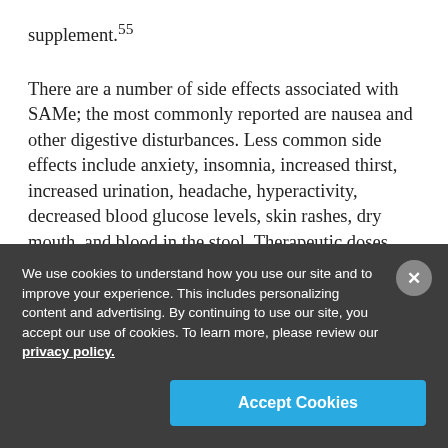supplement.55
There are a number of side effects associated with SAMe; the most commonly reported are nausea and other digestive disturbances. Less common side effects include anxiety, insomnia, increased thirst, increased urination, headache, hyperactivity, decreased blood glucose levels, skin rashes, dry mouth, and blood in the stool. Therapeutic doses range from 400 mg per day to 1,600 mg per day,
We use cookies to understand how you use our site and to improve your experience. This includes personalizing content and advertising. By continuing to use our site, you accept our use of cookies. To learn more, please review our privacy policy.